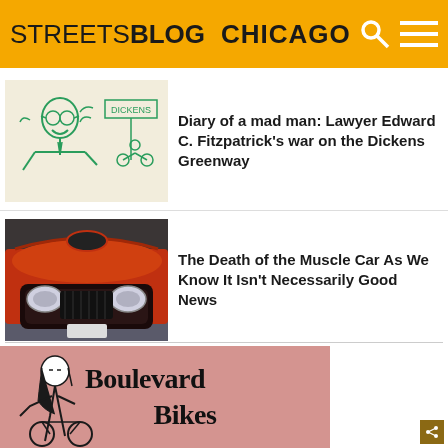STREETSBLOG CHICAGO
[Figure (illustration): Cartoon sketch of a man with glasses and a tie, with a bicycle and a street sign reading DICKENS in the background]
Diary of a mad man: Lawyer Edward C. Fitzpatrick’s war on the Dickens Greenway
[Figure (photo): Close-up photo of the front of an orange/red muscle car (Dodge Challenger) with hood open in a parking lot]
The Death of the Muscle Car As We Know It Isn’t Necessarily Good News
[Figure (illustration): Pink-background illustration of a woman on a bicycle with text 'Boulevard Bikes']